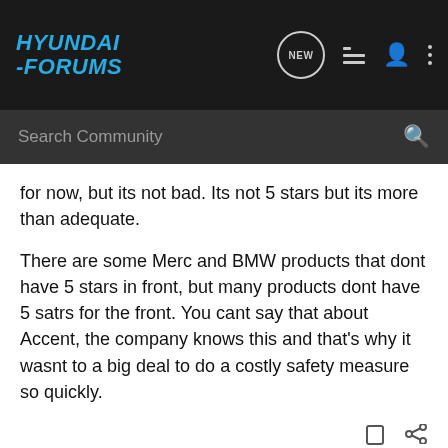[Figure (screenshot): Hyundai Forums website navigation bar with logo, NEW button, list icon, user icon, and three-dots menu icon]
[Figure (screenshot): Search Community input bar with magnifying glass icon]
for now, but its not bad. Its not 5 stars but its more than adequate.
There are some Merc and BMW products that dont have 5 stars in front, but many products dont have 5 satrs for the front. You cant say that about Accent, the company knows this and that's why it wasnt to a big deal to do a costly safety measure so quickly.
HyundaiSmoke · Registered
Joined Apr 19, 2010 · 73 Posts
#7 · Apr 27, 2010